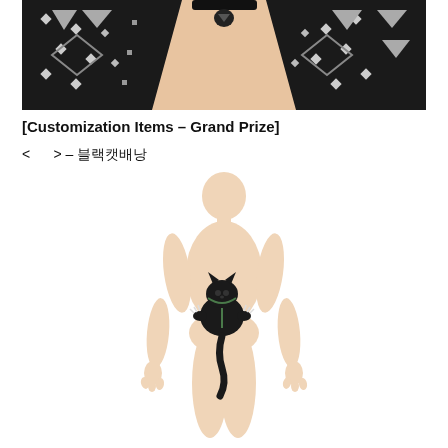[Figure (photo): Close-up of an anime/game character wearing a black studded leather jacket with silver studs and diamond patterns, open chest, with a choker necklace featuring a heart/gem pendant. Background is beige/pinkish-brown.]
[Customization Items – Grand Prize]
< > – 블랙캣배낭
[Figure (illustration): Manga/game style illustration of a featureless humanoid figure shown from the back, with a small black cat character clinging to the lower back/spine area. The cat has claws and a long tail hanging down. The figure has a peach/cream skin tone.]